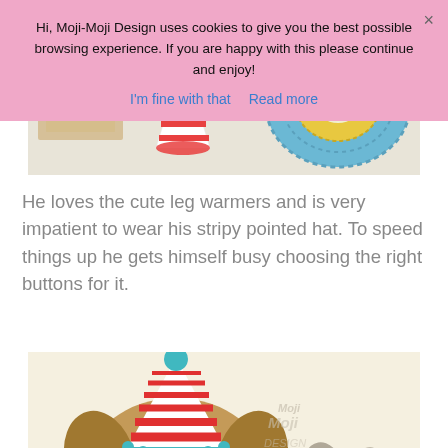[Figure (photo): Top portion of a crochet craft photo showing a striped pointed hat, a wooden frame/hoop, and a blue/yellow circular crocheted piece on a light background]
He loves the cute leg warmers and is very impatient to wear his stripy pointed hat. To speed things up he gets himself busy choosing the right buttons for it.
[Figure (photo): A crocheted dog amigurumi wearing a red and white striped party hat with a teal pompom and teal trim, next to a smaller grey crocheted animal. Moji-Moji Design watermark visible.]
Hi, Moji-Moji Design uses cookies to give you the best possible browsing experience. If you are happy with this please continue and enjoy!
I'm fine with that   Read more